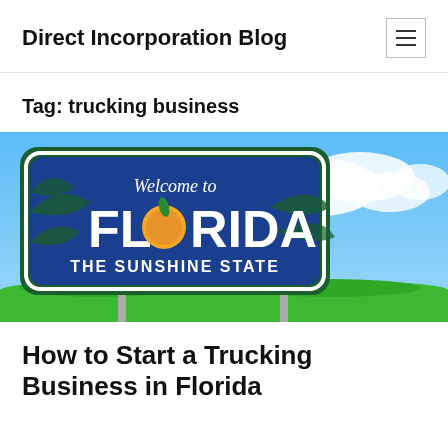Direct Incorporation Blog
Tag: trucking business
[Figure (photo): Welcome to Florida THE SUNSHINE STATE road sign against a blue sky with clouds, with green grass in the foreground]
How to Start a Trucking Business in Florida